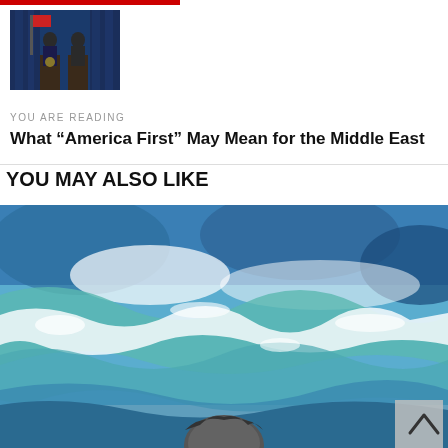[Figure (photo): Small thumbnail photo of two people at a podium with blue curtain background, likely a press conference or official event]
YOU ARE READING
What “America First” May Mean for the Middle East
YOU MAY ALSO LIKE
[Figure (illustration): Large colorful illustration of ocean waves in blue and white tones, with what appears to be a figure partially visible at the bottom, rendered in pencil or pastel style]